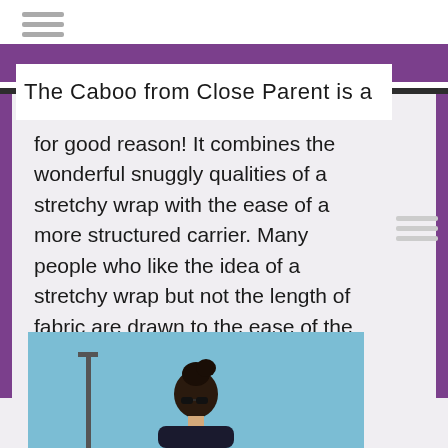The Caboo from Close Parent is a
for good reason! It combines the wonderful snuggly qualities of a stretchy wrap with the ease of a more structured carrier. Many people who like the idea of a stretchy wrap but not the length of fabric are drawn to the ease of the Caboo.
[Figure (photo): A person wearing sunglasses photographed outdoors against a blue sky background]